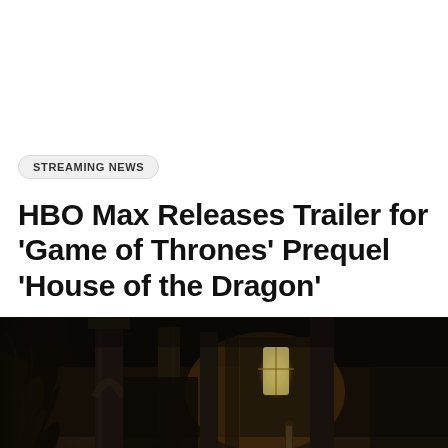STREAMING NEWS
HBO Max Releases Trailer for 'Game of Thrones' Prequel 'House of the Dragon'
[Figure (photo): Dark cinematic still from House of the Dragon showing a dimly lit medieval hall with tall stone columns, arched doorways, a bright window in the background, and a lone figure standing in the shadows. Dark feathered/scaled wing-like shapes are visible on the left side.]